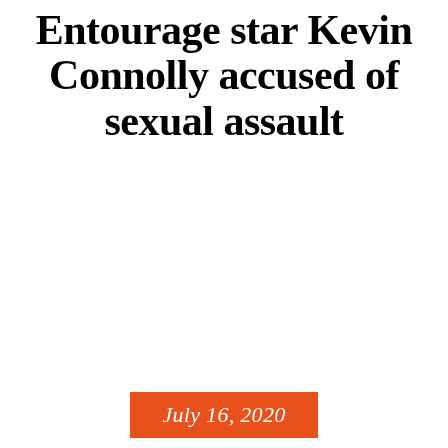Entourage star Kevin Connolly accused of sexual assault
July 16, 2020
Kevin Connolly has been accused of sexually assaulting a costume designer during a December 2005 wrap party in New York City...